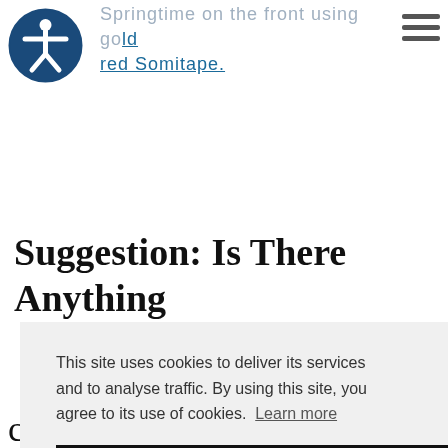Springtime on the front using gold red Somitape.
Suggestion: Is There Anything
This site uses cookies to deliver its services and to analyse traffic. By using this site, you agree to its use of cookies. Learn more
OK
cute tape running low